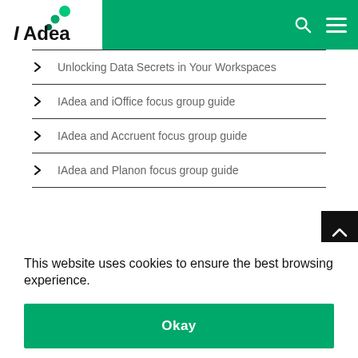[Figure (logo): IAdea logo with green dots and company name in bold/italic style on white background, inside green header bar]
Unlocking Data Secrets in Your Workspaces
IAdea and iOffice focus group guide
IAdea and Accruent focus group guide
IAdea and Planon focus group guide
This website uses cookies to ensure the best browsing experience.
Okay